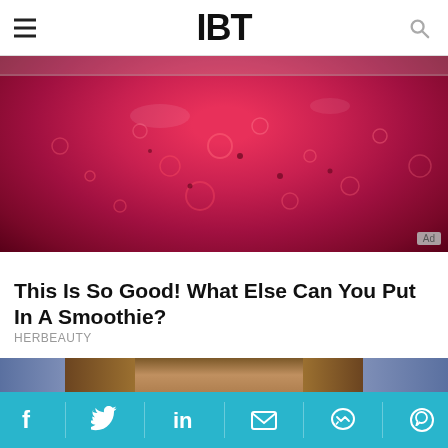IBT
[Figure (photo): Close-up photo of a red/pink berry smoothie in a glass jar with bubbles on the surface, with an Ad badge in the bottom right corner]
This Is So Good! What Else Can You Put In A Smoothie?
HERBEAUTY
[Figure (photo): Photo of a woman with long brown hair, looking directly at the camera, with a blue background]
Social sharing bar with icons: Facebook, Twitter, LinkedIn, Email, Messenger, WhatsApp